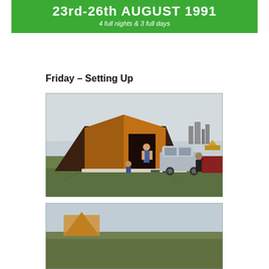[Figure (other): Green banner heading showing '23rd-26th AUGUST 1991' and subtitle '4 full nights & 3 full days' on a bright green background with white bold text]
Friday - Setting Up
[Figure (photo): Outdoor festival campsite photograph showing a large orange and brown tent being set up on a grass field, with a car parked nearby, people in background, and an industrial building visible on the horizon under a cloudy sky]
[Figure (photo): Partial photograph at bottom of page, cropped, showing another outdoor scene at the festival campsite]